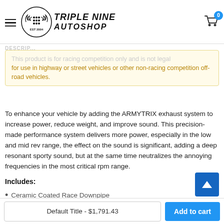Triple Nine Autoshop — EST 2004 | Cart: 0
This product is for racing competition only and is not legal for use in highway or street vehicles or other non-racing competition off-road vehicles.
To enhance your vehicle by adding the ARMYTRIX exhaust system to increase power, reduce weight, and improve sound. This precision-made performance system delivers more power, especially in the low and mid rev range, the effect on the sound is significant, adding a deep resonant sporty sound, but at the same time neutralizes the annoying frequencies in the most critical rpm range.
Includes:
Ceramic Coated Race Downpipe
Default Title - $1,791.43 | Add to cart